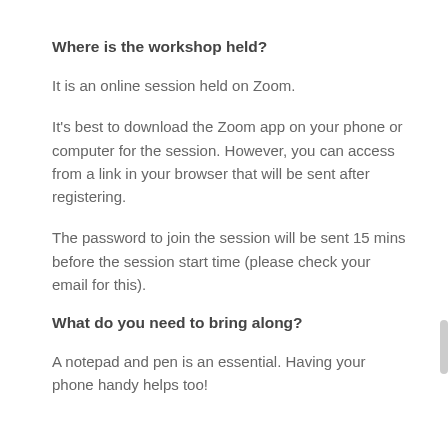Where is the workshop held?
It is an online session held on Zoom.
It's best to download the Zoom app on your phone or computer for the session. However, you can access from a link in your browser that will be sent after registering.
The password to join the session will be sent 15 mins before the session start time (please check your email for this).
What do you need to bring along?
A notepad and pen is an essential. Having your phone handy helps too!